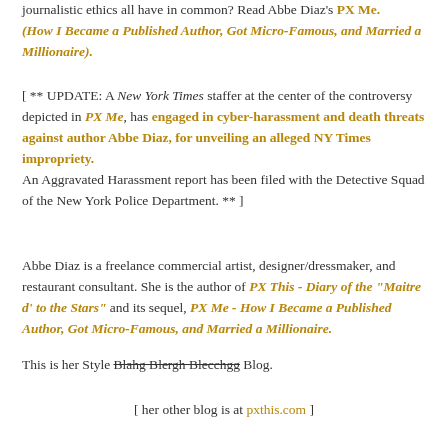journalistic ethics all have in common? Read Abbe Diaz's PX Me. (How I Became a Published Author, Got Micro-Famous, and Married a Millionaire).
[ ** UPDATE: A New York Times staffer at the center of the controversy depicted in PX Me, has engaged in cyber-harassment and death threats against author Abbe Diaz, for unveiling an alleged NY Times impropriety. An Aggravated Harassment report has been filed with the Detective Squad of the New York Police Department. ** ]
Abbe Diaz is a freelance commercial artist, designer/dressmaker, and restaurant consultant. She is the author of PX This - Diary of the "Maitre d' to the Stars" and its sequel, PX Me - How I Became a Published Author, Got Micro-Famous, and Married a Millionaire.
This is her Style Blahg Blergh Blecchgg Blog.
[ her other blog is at pxthis.com ]